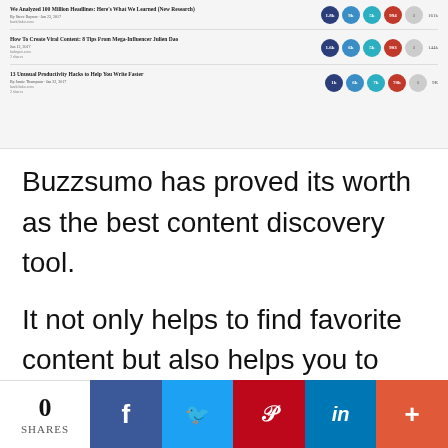[Figure (screenshot): Screenshot of Buzzsumo interface showing article results with social share counts. Three article rows visible, each with title, author/date, URL, and colored circular badge counts for various social platforms.]
Buzzsumo has proved its worth as the best content discovery tool.
It not only helps to find favorite content but also helps you to connect with influencers. The topics you find on buzzsumo tells you the how viral they are. You can write in-depth articles
[Figure (screenshot): Social share bar at bottom showing: 0 SHARES, Facebook, Twitter, Pinterest, LinkedIn, and More (+) buttons.]